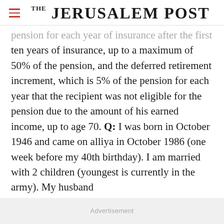THE JERUSALEM POST
pension for each year of insurance after the first ten years of insurance, up to a maximum of 50% of the pension, and the deferred retirement increment, which is 5% of the pension for each year that the recipient was not eligible for the pension due to the amount of his earned income, up to age 70. Q: I was born in October 1946 and came on alliya in October 1986 (one week before my 40th birthday). I am married with 2 children (youngest is currently in the army). My husband
Advertisement